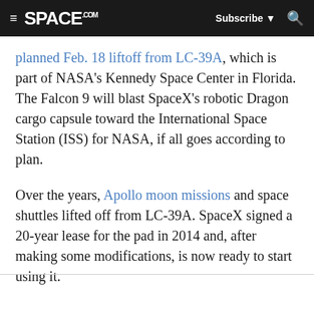SPACE.com — Subscribe | Search
planned Feb. 18 liftoff from LC-39A, which is part of NASA's Kennedy Space Center in Florida. The Falcon 9 will blast SpaceX's robotic Dragon cargo capsule toward the International Space Station (ISS) for NASA, if all goes according to plan.
Over the years, Apollo moon missions and space shuttles lifted off from LC-39A. SpaceX signed a 20-year lease for the pad in 2014 and, after making some modifications, is now ready to start using it.